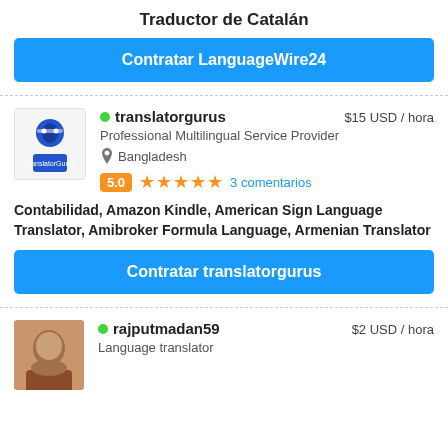Traductor de Catalán
Contratar LanguageWire24
translatorgurus • $15 USD / hora
Professional Multilingual Service Provider
Bangladesh
5.0 ★★★★★ 3 comentarios
Contabilidad, Amazon Kindle, American Sign Language Translator, Amibroker Formula Language, Armenian Translator
Contratar translatorgurus
rajputmadan59 • $2 USD / hora
Language translator